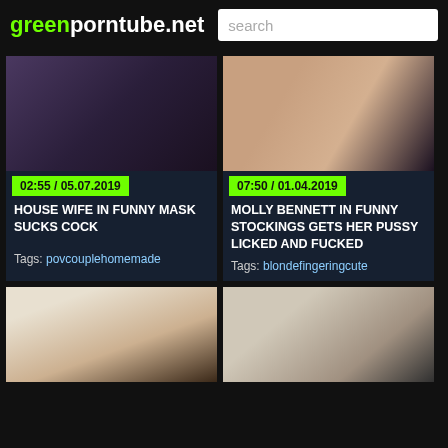greenporntube.net
[Figure (screenshot): Video thumbnail - dark scene]
02:55 / 05.07.2019
HOUSE WIFE IN FUNNY MASK SUCKS COCK
Tags: povcouplehomemade
[Figure (screenshot): Video thumbnail - person from behind]
07:50 / 01.04.2019
MOLLY BENNETT IN FUNNY STOCKINGS GETS HER PUSSY LICKED AND FUCKED
Tags: blondefingeringcute
[Figure (screenshot): Video thumbnail - blonde person]
[Figure (screenshot): Video thumbnail - person face]